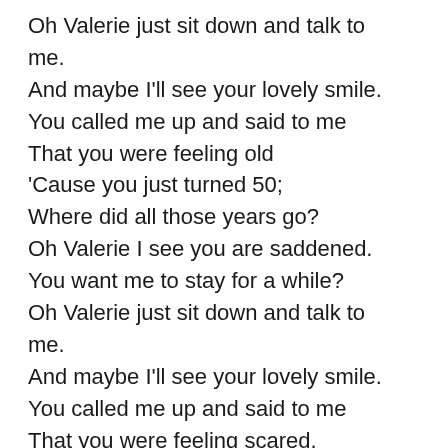Oh Valerie just sit down and talk to me.
And maybe I'll see your lovely smile.
You called me up and said to me
That you were feeling old
'Cause you just turned 50;
Where did all those years go?
Oh Valerie I see you are saddened.
You want me to stay for a while?
Oh Valerie just sit down and talk to me.
And maybe I'll see your lovely smile.
You called me up and said to me
That you were feeling scared.
As your death drew near,
You were feeling unprepared.
Oh Valerie I see you are saddened.
You want me to stay for a while?
Oh Valerie just sit down and talk to